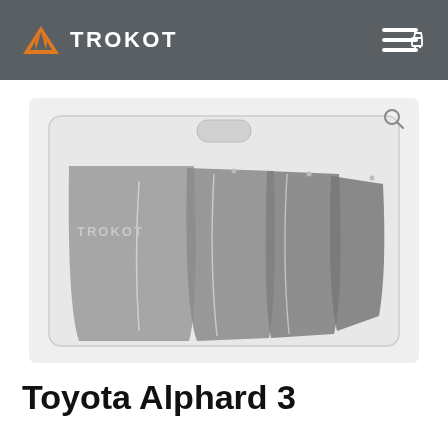TROKOT
[Figure (photo): Product photo of Trokot car sun shade screens in a clear plastic packaging bag, showing multiple dark grey mesh sun shades for vehicle windows, with the TROKOT brand name visible on the packaging.]
Toyota Alphard 3